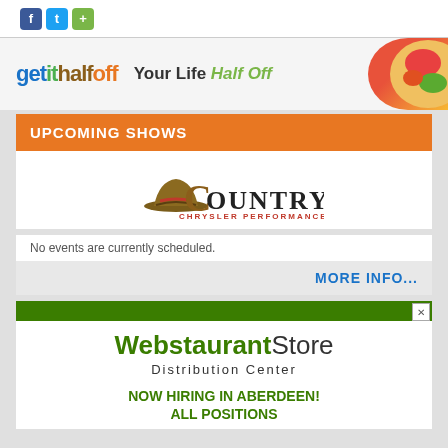[Figure (other): Social media share icons: Facebook (f), Twitter (bird), Share (+)]
[Figure (other): getithalfoff.com advertisement banner with logo and tagline 'Your Life Half Off' with food image on right]
UPCOMING SHOWS
[Figure (logo): Country Chrysler Performance Stage logo with cowboy hat graphic]
No events are currently scheduled.
MORE INFO...
[Figure (other): WebstaurantStore Distribution Center advertisement with green bar and hiring notice: NOW HIRING IN ABERDEEN! ALL POSITIONS]